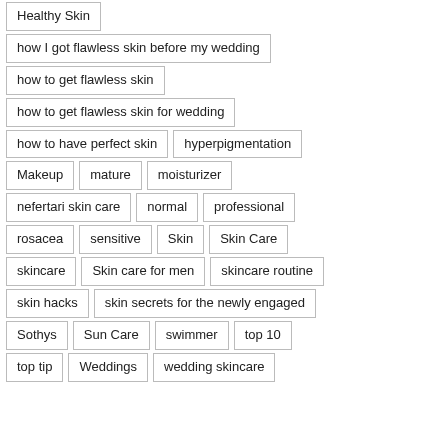Healthy Skin
how I got flawless skin before my wedding
how to get flawless skin
how to get flawless skin for wedding
how to have perfect skin
hyperpigmentation
Makeup
mature
moisturizer
nefertari skin care
normal
professional
rosacea
sensitive
Skin
Skin Care
skincare
Skin care for men
skincare routine
skin hacks
skin secrets for the newly engaged
Sothys
Sun Care
swimmer
top 10
top tip
Weddings
wedding skincare